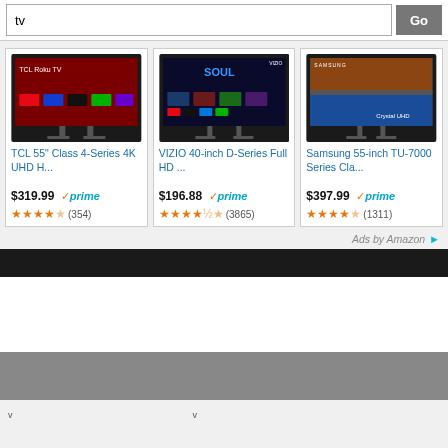tv
[Figure (screenshot): Amazon shopping ad widget showing three TV products]
TCL 55" Class 4-Series 4K UHD H...
$319.99 prime (354 reviews)
VIZIO 40-inch D-Series Full HD ...
$196.88 prime (3865 reviews)
Samsung 55-inch TU-7000 Series Cla...
$397.99 prime (1311 reviews)
Ads by Amazon